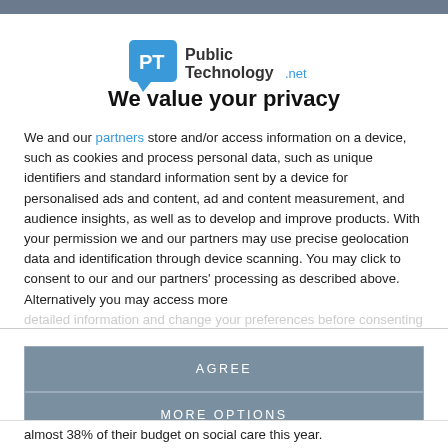[Figure (logo): PublicTechnology.net logo with speech bubble icon in teal/blue]
We value your privacy
We and our partners store and/or access information on a device, such as cookies and process personal data, such as unique identifiers and standard information sent by a device for personalised ads and content, ad and content measurement, and audience insights, as well as to develop and improve products. With your permission we and our partners may use precise geolocation data and identification through device scanning. You may click to consent to our and our partners' processing as described above. Alternatively you may access more detailed information and change your preferences before consenting
AGREE
MORE OPTIONS
almost 38% of their budget on social care this year.